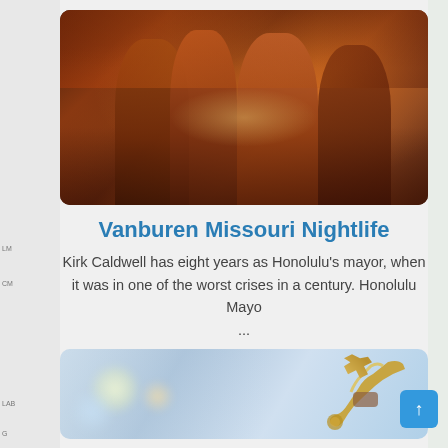[Figure (photo): Group of young women laughing and toasting cocktails in a nightclub with warm amber lighting]
Vanburen Missouri Nightlife
Kirk Caldwell has eight years as Honolulu's mayor, when it was in one of the worst crises in a century. Honolulu Mayo ...
[Figure (photo): Close-up of hands holding a brass musical instrument (trumpet or saxophone) with blurred bokeh lights in background]